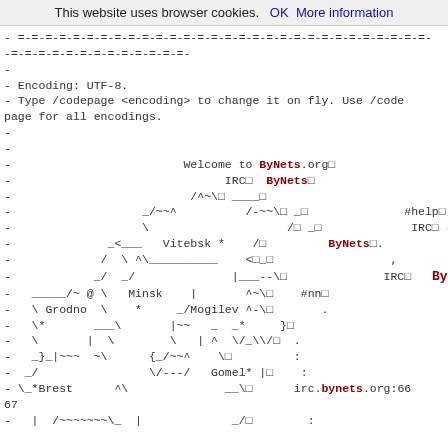This website uses browser cookies.   OK   More information
- =-=-=-=-=-=-=-=-=-=-=-=-=-=-=-=-=-=-=-=-=-=-=-=-=-=-=-=-=-=
-=-=-=-=-=-=-=-=-=-=-=-=-=-
-
- Encoding: UTF-8.
- Type /codepage <encoding> to change it on fly. Use /code
page for all encodings.
-
-
-                         Welcome to ByNets.org
-                               IRC   ByNets
-                          /^~\  ____
-                   _/~~^          /-~~\  _              #help
-                   \                    /  _             IRC -
-              _<___   Vitebsk *    /         ByNets .
-             /  \ ^\__________    < _
-            _/  _/              |___--\              IRC    ByNets
-   _____/~ @ \   Minsk    |       ^~\    #nn
-   \ Grodno  \    *     _/Mogilev ^-\       .
-   \*       ___\       |~~   _  _*     }
-   \       |  \        \   | ^  \/_\/  .
-   _}_|~~~  ~\      {_/~~^    \         :
-  _/                \/---/   Gomel* |    :
- \_*Brest      ^\              __\      irc.bynets.org:6667
-   |  /~~~~~~~\_  |             _/        :